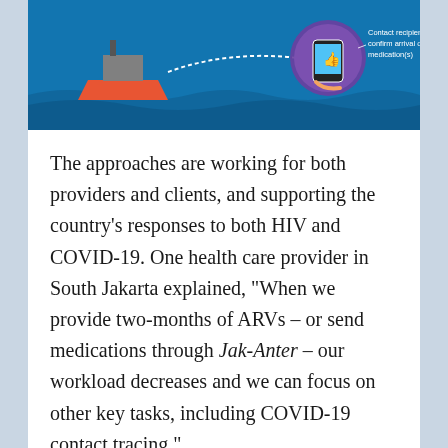[Figure (infographic): Infographic on blue background showing a ship/boat delivering medications, with a hand holding a smartphone displaying a thumbs-up, and text reading 'Contact recipient to confirm arrival of medication(s)']
The approaches are working for both providers and clients, and supporting the country’s responses to both HIV and COVID-19. One health care provider in South Jakarta explained, “When we provide two-months of ARVs – or send medications through Jak-Anter – our workload decreases and we can focus on other key tasks, including COVID-19 contact tracing.”